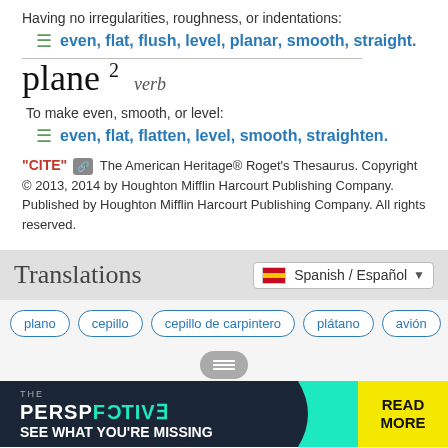Having no irregularities, roughness, or indentations:
≡ even, flat, flush, level, planar, smooth, straight.
plane 2  verb
To make even, smooth, or level:
≡ even, flat, flatten, level, smooth, straighten.
"CITE" 🔗  The American Heritage® Roget's Thesaurus. Copyright © 2013, 2014 by Houghton Mifflin Harcourt Publishing Company. Published by Houghton Mifflin Harcourt Publishing Company. All rights reserved.
Translations
Spanish / Español
plano
cepillo
cepillo de carpintero
plátano
avión
[Figure (infographic): Advertisement banner: THE PERSPECTIVE SEE WHAT YOU'RE MISSING with READ MORE button]